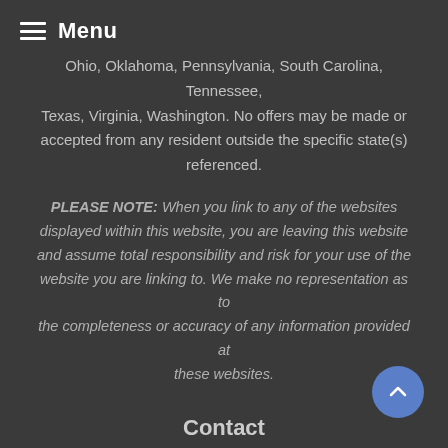Menu
Ohio, Oklahoma, Pennsylvania, South Carolina, Tennessee, Texas, Virginia, Washington. No offers may be made or accepted from any resident outside the specific state(s) referenced.
PLEASE NOTE: When you link to any of the websites displayed within this website, you are leaving this website and assume total responsibility and risk for your use of the website you are linking to. We make no representation as to the completeness or accuracy of any information provided at these websites.
Contact
Brennan Wealth Advisors
Office:  214.764.1978
3201 Dallas Parkway